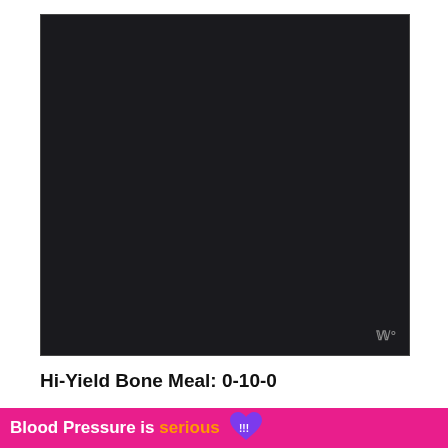[Figure (photo): A mostly black/very dark image area with a small watermark logo in the bottom right corner reading 'W°']
Hi-Yield Bone Meal: 0-10-0
Blood Pressure is serious
[Figure (logo): Purple heart with exclamation mark logo next to the ad banner text]